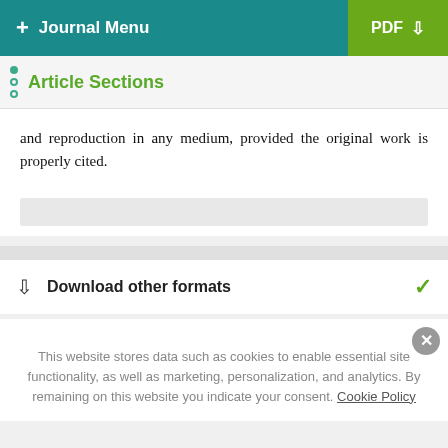+ Journal Menu | PDF
Article Sections
and reproduction in any medium, provided the original work is properly cited.
Download other formats
This website stores data such as cookies to enable essential site functionality, as well as marketing, personalization, and analytics. By remaining on this website you indicate your consent. Cookie Policy